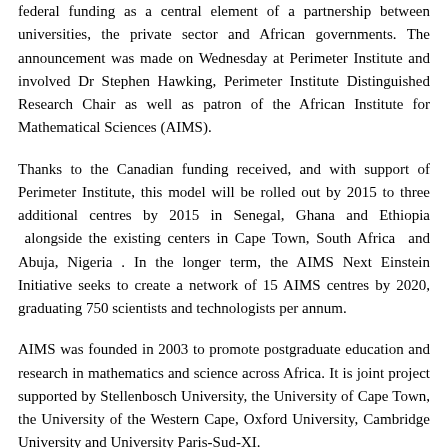federal funding as a central element of a partnership between universities, the private sector and African governments. The announcement was made on Wednesday at Perimeter Institute and involved Dr Stephen Hawking, Perimeter Institute Distinguished Research Chair as well as patron of the African Institute for Mathematical Sciences (AIMS).
Thanks to the Canadian funding received, and with support of Perimeter Institute, this model will be rolled out by 2015 to three additional centres by 2015 in Senegal, Ghana and Ethiopia  alongside the existing centers in Cape Town, South Africa  and Abuja, Nigeria . In the longer term, the AIMS Next Einstein Initiative seeks to create a network of 15 AIMS centres by 2020, graduating 750 scientists and technologists per annum.
AIMS was founded in 2003 to promote postgraduate education and research in mathematics and science across Africa. It is joint project supported by Stellenbosch University, the University of Cape Town, the University of the Western Cape, Oxford University, Cambridge University and University Paris-Sud-XI.